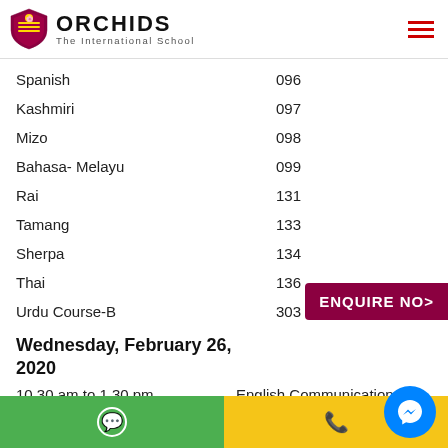ORCHIDS The International School
| Language | Code |
| --- | --- |
| Spanish | 096 |
| Kashmiri | 097 |
| Mizo | 098 |
| Bahasa- Melayu | 099 |
| Rai | 131 |
| Tamang | 133 |
| Sherpa | 134 |
| Thai | 136 |
| Urdu Course-B | 303 |
Wednesday, February 26, 2020
10.30 am to 1.30 pm    English Communication 1